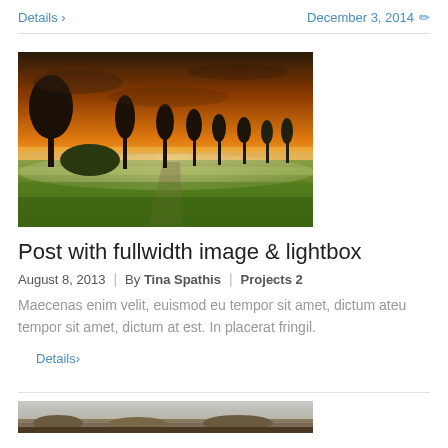Details >   December 3, 2014 ✏
[Figure (photo): Landscape photo showing a golden sunset over green fields with silhouetted trees along a misty road]
Post with fullwidth image & lightbox
August 8, 2013  |  By Tina Spathis  |  Projects 2
Maecenas enim velit, euismod eu tempor sit amet, dictum ateu tempor sit amet, dictum at est. In placerat fringil.
Details >
[Figure (photo): Partial view of a landscape photo at the bottom of the page]